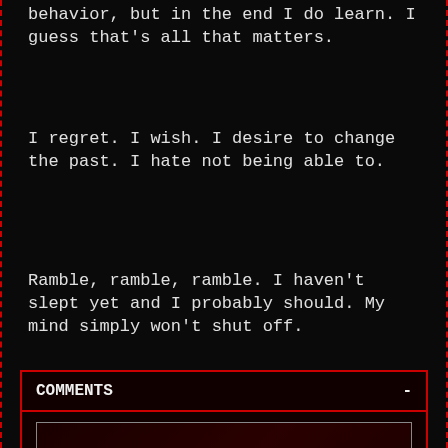behavior, but in the end I do learn. I guess that's all that matters.
I regret. I wish. I desire to change the past. I hate not being able to.
Ramble, ramble, ramble. I haven't slept yet and I probably should. My mind simply won't shut off.
COMMENTS
[Figure (screenshot): Comment input textarea box with dark red gradient background and resize handle]